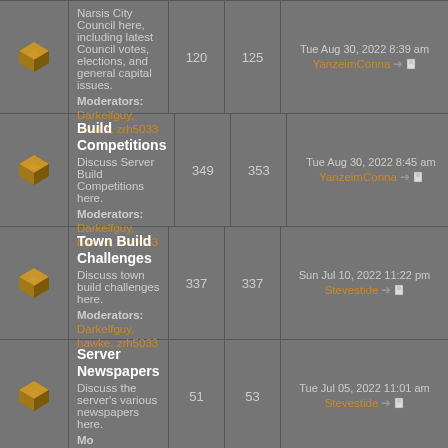| Icon | Forum | Topics | Posts | Last Post |
| --- | --- | --- | --- | --- |
| [icon] | Narsis City Council
Narsis City Council here, including latest Council votes, elections, and general capital issues.
Moderators: Darkelfguy, hawke, zrh5033 | 120 | 125 | Tue Aug 30, 2022 8:39 am
YanzeimConna |
| [icon] | Build Competitions
Discuss Server Build Competitions here.
Moderators: Darkelfguy, hawke, zrh5033 | 349 | 353 | Tue Aug 30, 2022 8:45 am
YanzeimConna |
| [icon] | Town Build Challenges
Discuss town build challenges here.
Moderators: Darkelfguy, hawke, zrh5033 | 337 | 337 | Sun Jul 10, 2022 11:22 pm
Stevestide |
| [icon] | Server Newspapers
Discuss the server's various newspapers here.
Moderators: | 51 | 53 | Tue Jul 05, 2022 11:01 am
Stevestide |